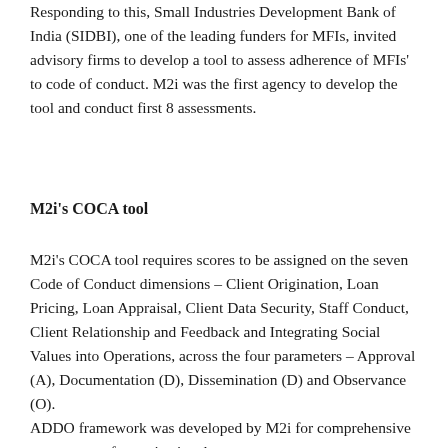Responding to this, Small Industries Development Bank of India (SIDBI), one of the leading funders for MFIs, invited advisory firms to develop a tool to assess adherence of MFIs' to code of conduct. M2i was the first agency to develop the tool and conduct first 8 assessments.
M2i's COCA tool
M2i's COCA tool requires scores to be assigned on the seven Code of Conduct dimensions – Client Origination, Loan Pricing, Loan Appraisal, Client Data Security, Staff Conduct, Client Relationship and Feedback and Integrating Social Values into Operations, across the four parameters – Approval (A), Documentation (D), Dissemination (D) and Observance (O).
ADDO framework was developed by M2i for comprehensive assessment of organizational